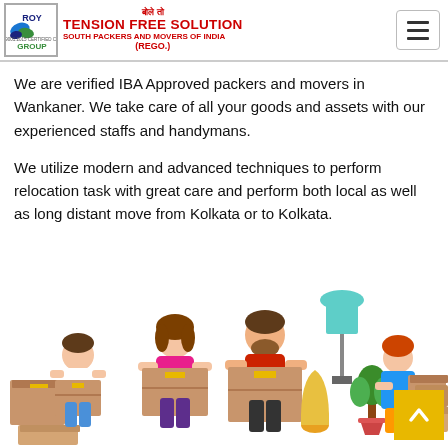ROY GROUP | TENSION FREE SOLUTION | बोले तो | SOUTH PACKERS AND MOVERS OF INDIA (REGO.)
We are verified IBA Approved packers and movers in Wankaner. We take care of all your goods and assets with our experienced staffs and handymans.
We utilize modern and advanced techniques to perform relocation task with great care and perform both local as well as long distant move from Kolkata or to Kolkata.
[Figure (illustration): Cartoon illustration of a family (man, woman, boy, girl) carrying cardboard moving boxes, with a lamp and plant in the background]